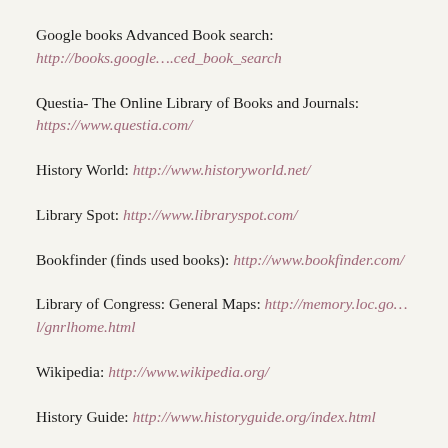Google books Advanced Book search: http://books.google….ced_book_search
Questia- The Online Library of Books and Journals: https://www.questia.com/
History World: http://www.historyworld.net/
Library Spot: http://www.libraryspot.com/
Bookfinder (finds used books): http://www.bookfinder.com/
Library of Congress: General Maps: http://memory.loc.go…l/gnrlhome.html
Wikipedia: http://www.wikipedia.org/
History Guide: http://www.historyguide.org/index.html